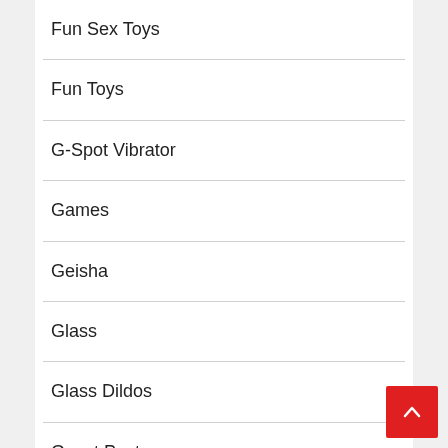Fun Sex Toys
Fun Toys
G-Spot Vibrator
Games
Geisha
Glass
Glass Dildos
Guest Post
Information